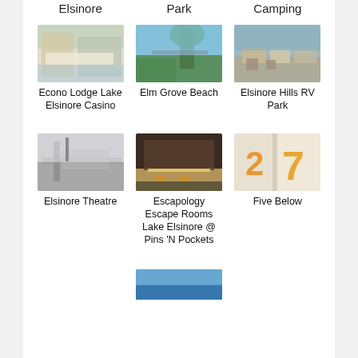Elsinore  Park  Camping
[Figure (photo): Pool area of Econo Lodge Lake Elsinore Casino]
Econo Lodge Lake Elsinore Casino
[Figure (photo): Elm Grove Beach with palm tree and lake]
Elm Grove Beach
[Figure (photo): Aerial view of Elsinore Hills RV Park]
Elsinore Hills RV Park
[Figure (photo): Black and white historic street photo of Elsinore Theatre]
Elsinore Theatre
[Figure (photo): Interior of Escapology Escape Rooms Lake Elsinore at Pins N Pockets]
Escapology Escape Rooms Lake Elsinore @ Pins 'N Pockets
[Figure (photo): Party decorations with number 2 and 7 balloons for Five Below]
Five Below
[Figure (photo): Partial image at bottom of page]